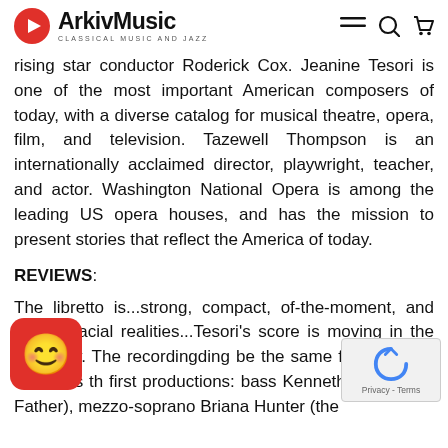ArkivMusic — CLASSICAL MUSIC AND JAZZ
rising star conductor Roderick Cox. Jeanine Tesori is one of the most important American composers of today, with a diverse catalog for musical theatre, opera, film, and television. Tazewell Thompson is an internationally acclaimed director, playwright, teacher, and actor. Washington National Opera is among the leading US opera houses, and has the mission to present stories that reflect the America of today.
REVIEWS:
The libretto is...strong, compact, of-the-moment, and true to racial realities...Tesori's score is moving in the best way. The recording be the same five principal artists as th first productions: bass Kenneth Kellogg (th Father), mezzo-soprano Briana Hunter (the